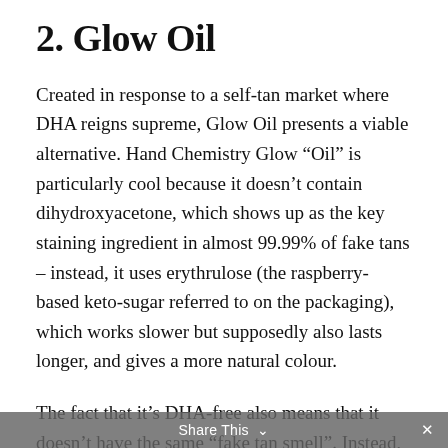2. Glow Oil
Created in response to a self-tan market where DHA reigns supreme, Glow Oil presents a viable alternative. Hand Chemistry Glow “Oil” is particularly cool because it doesn’t contain dihydroxyacetone, which shows up as the key staining ingredient in almost 99.99% of fake tans – instead, it uses erythrulose (the raspberry-based keto-sugar referred to on the packaging), which works slower but supposedly also lasts longer, and gives a more natural colour.
The fact that it’s DHA-free also means that it doesn’t have the same “fake tan smell”. Instead, it smells almost cloyingly sweet when you put it on (supposedly from the watermelon extract), but it fades to a slightly sweet scent after a day or so.
Share This